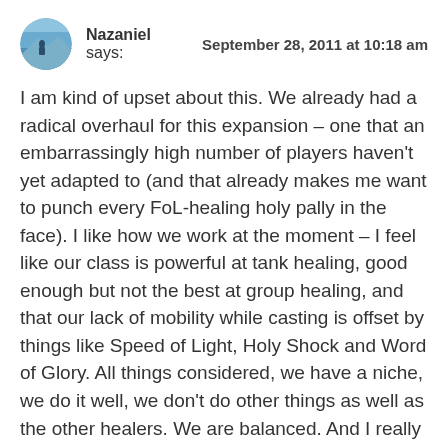[Figure (photo): Circular avatar photo of Nazaniel, showing a person near water/lake scene with blue tones]
Nazaniel says:      September 28, 2011 at 10:18 am
I am kind of upset about this. We already had a radical overhaul for this expansion – one that an embarrassingly high number of players haven't yet adapted to (and that already makes me want to punch every FoL-healing holy pally in the face). I like how we work at the moment – I feel like our class is powerful at tank healing, good enough but not the best at group healing, and that our lack of mobility while casting is offset by things like Speed of Light, Holy Shock and Word of Glory. All things considered, we have a niche, we do it well, we don’t do other things as well as the other healers. We are balanced. And I really liked the self-positioning aspect of Holy Radiance.
A mid-expansion major change like this seems a